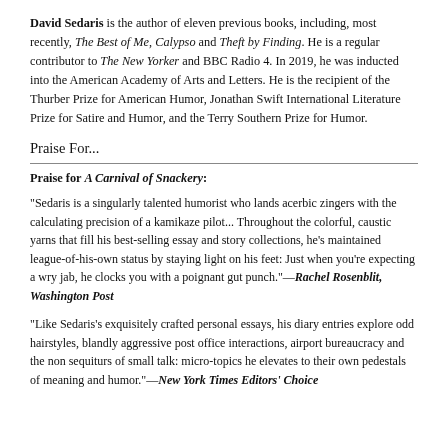David Sedaris is the author of eleven previous books, including, most recently, The Best of Me, Calypso and Theft by Finding. He is a regular contributor to The New Yorker and BBC Radio 4. In 2019, he was inducted into the American Academy of Arts and Letters. He is the recipient of the Thurber Prize for American Humor, Jonathan Swift International Literature Prize for Satire and Humor, and the Terry Southern Prize for Humor.
Praise For...
Praise for A Carnival of Snackery:
“Sedaris is a singularly talented humorist who lands acerbic zingers with the calculating precision of a kamikaze pilot... Throughout the colorful, caustic yarns that fill his best-selling essay and story collections, he’s maintained league-of-his-own status by staying light on his feet: Just when you’re expecting a wry jab, he clocks you with a poignant gut punch.” —Rachel Rosenblit, Washington Post
“Like Sedaris’s exquisitely crafted personal essays, his diary entries explore odd hairstyles, blandly aggressive post office interactions, airport bureaucracy and the non sequiturs of small talk: micro-topics he elevates to their own pedestals of meaning and humor.”—New York Times Editors’ Choice